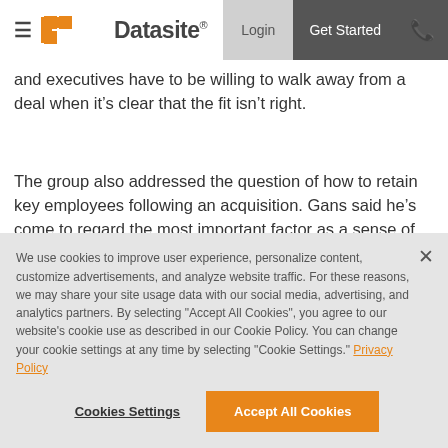Datasite | Login | Get Started
and executives have to be willing to walk away from a deal when it's clear that the fit isn't right.
The group also addressed the question of how to retain key employees following an acquisition. Gans said he's come to regard the most important factor as a sense of ownership and empowerment.
We use cookies to improve user experience, personalize content, customize advertisements, and analyze website traffic. For these reasons, we may share your site usage data with our social media, advertising, and analytics partners. By selecting "Accept All Cookies", you agree to our website's cookie use as described in our Cookie Policy. You can change your cookie settings at any time by selecting "Cookie Settings." Privacy Policy
Cookies Settings | Accept All Cookies